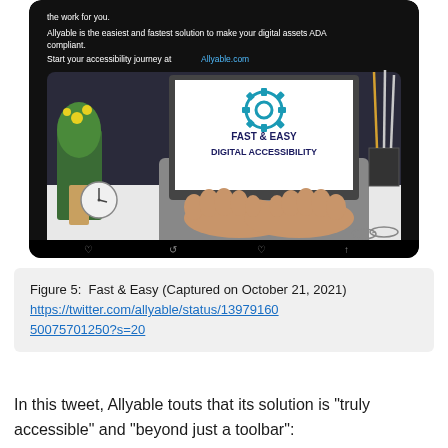[Figure (screenshot): Screenshot of a tweet from Allyable on a dark/black background. Tweet text reads: 'Allyable is the easiest and fastest solution to make your digital assets ADA compliant. Start your accessibility journey at Allyable.com'. Below the text is an image of a laptop on a desk with hands typing, and the laptop screen shows a gear icon and text reading 'FAST & EASY DIGITAL ACCESSIBILITY'. Tweet action icons (like, retweet, heart, share) appear at the bottom of the tweet card.]
Figure 5:  Fast & Easy (Captured on October 21, 2021) https://twitter.com/allyable/status/1397916050075701250?s=20
In this tweet, Allyable touts that its solution is "truly accessible" and "beyond just a toolbar":